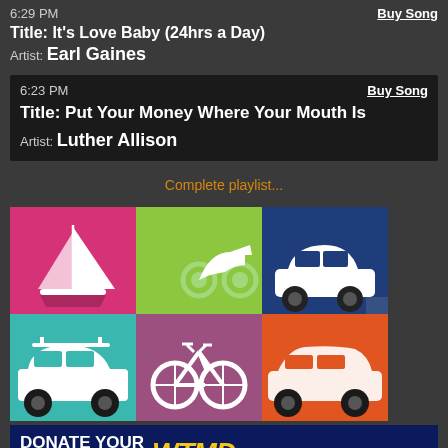6:29 PM | Buy Song | Title: It's Love Baby (24hrs a Day) | Artist: Earl Gaines
6:23 PM | Buy Song | Title: Put Your Money Where Your Mouth Is | Artist: Luther Allison
Complete playlist...
[Figure (illustration): 3x2 grid of colorful transportation icons: sailboat (pink), scooter (lime green), small car (navy), SUV with roof rack (teal), bicycle (mauve/purple), SUV/car (orange)]
DONATE YOUR VEHICLE TO WTMD